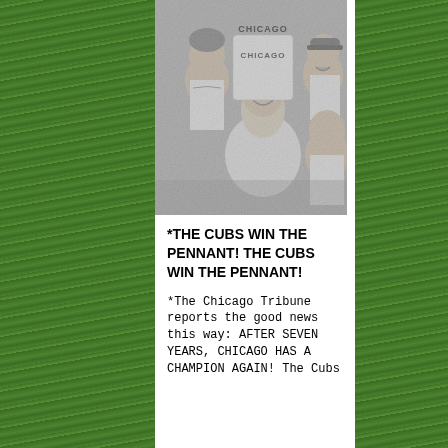[Figure (photo): Black and white newspaper photo of Chicago Cubs players celebrating, one player wearing a jersey with 'CHICAGO' visible, players laughing and embracing]
*THE CUBS WIN THE PENNANT! THE CUBS WIN THE PENNANT!
*The Chicago Tribune reports the good news this way: AFTER SEVEN YEARS, CHICAGO HAS A CHAMPION AGAIN! The Cubs